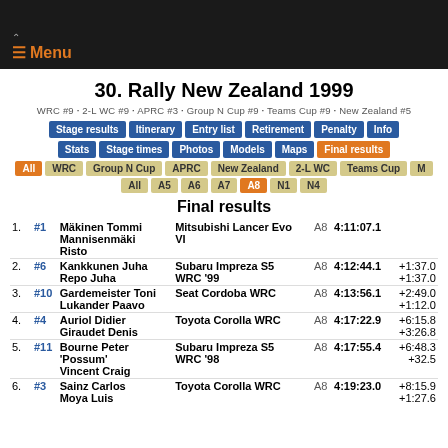Menu
30. Rally New Zealand 1999
WRC #9 · 2-L WC #9 · APRC #3 · Group N Cup #9 · Teams Cup #9 · New Zealand #5
Final results
| Pos | No | Driver/Co-driver | Car | Cat | Time | Gap |
| --- | --- | --- | --- | --- | --- | --- |
| 1. | #1 | Mäkinen Tommi
Mannisenmäki Risto | Mitsubishi Lancer Evo VI | A8 | 4:11:07.1 |  |
| 2. | #6 | Kankkunen Juha
Repo Juha | Subaru Impreza S5 WRC '99 | A8 | 4:12:44.1 | +1:37.0
+1:37.0 |
| 3. | #10 | Gardemeister Toni
Lukander Paavo | Seat Cordoba WRC | A8 | 4:13:56.1 | +2:49.0
+1:12.0 |
| 4. | #4 | Auriol Didier
Giraudet Denis | Toyota Corolla WRC | A8 | 4:17:22.9 | +6:15.8
+3:26.8 |
| 5. | #11 | Bourne Peter 'Possum'
Vincent Craig | Subaru Impreza S5 WRC '98 | A8 | 4:17:55.4 | +6:48.3
+32.5 |
| 6. | #3 | Sainz Carlos
Moya Luis | Toyota Corolla WRC | A8 | 4:19:23.0 | +8:15.9
+1:27.6 |